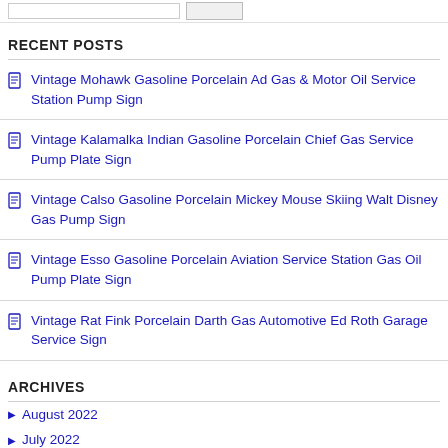RECENT POSTS
Vintage Mohawk Gasoline Porcelain Ad Gas & Motor Oil Service Station Pump Sign
Vintage Kalamalka Indian Gasoline Porcelain Chief Gas Service Pump Plate Sign
Vintage Calso Gasoline Porcelain Mickey Mouse Skiing Walt Disney Gas Pump Sign
Vintage Esso Gasoline Porcelain Aviation Service Station Gas Oil Pump Plate Sign
Vintage Rat Fink Porcelain Darth Gas Automotive Ed Roth Garage Service Sign
ARCHIVES
August 2022
July 2022